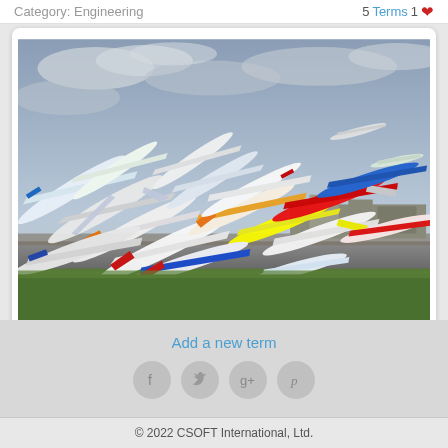Category: Engineering  5 Terms 1
[Figure (photo): Composite photo-montage of dozens of airplanes taking off from an airport runway simultaneously, stacked in a dramatic arc against a cloudy sky with a green grass field in the foreground.]
Add a new term
© 2022 CSOFT International, Ltd.